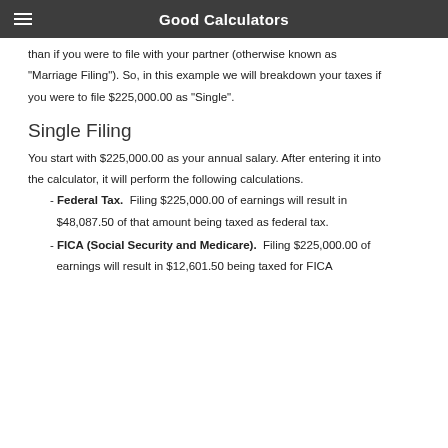Good Calculators
than if you were to file with your partner (otherwise known as "Marriage Filing"). So, in this example we will breakdown your taxes if you were to file $225,000.00 as "Single".
Single Filing
You start with $225,000.00 as your annual salary. After entering it into the calculator, it will perform the following calculations.
- Federal Tax.  Filing $225,000.00 of earnings will result in $48,087.50 of that amount being taxed as federal tax.
- FICA (Social Security and Medicare).  Filing $225,000.00 of earnings will result in $12,601.50 being taxed for FICA